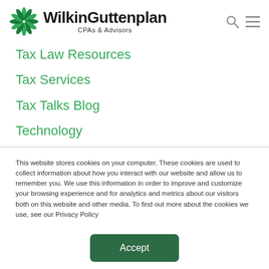WilkinGuttenplan CPAs & Advisors
Tax Law Resources
Tax Services
Tax Talks Blog
Technology
This website stores cookies on your computer. These cookies are used to collect information about how you interact with our website and allow us to remember you. We use this information in order to improve and customize your browsing experience and for analytics and metrics about our visitors both on this website and other media. To find out more about the cookies we use, see our Privacy Policy
Accept